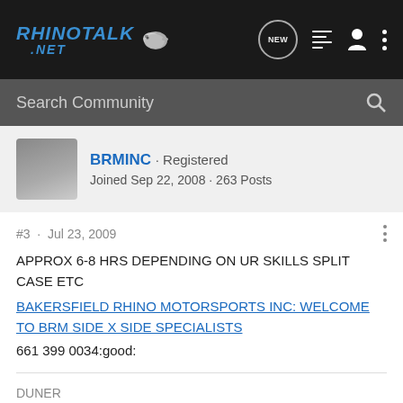RHINOTALK.NET
Search Community
BRMINC · Registered
Joined Sep 22, 2008 · 263 Posts
#3 · Jul 23, 2009
APPROX 6-8 HRS DEPENDING ON UR SKILLS SPLIT CASE ETC
BAKERSFIELD RHINO MOTORSPORTS INC: WELCOME TO BRM SIDE X SIDE SPECIALISTS
661 399 0034:good:
DUNER